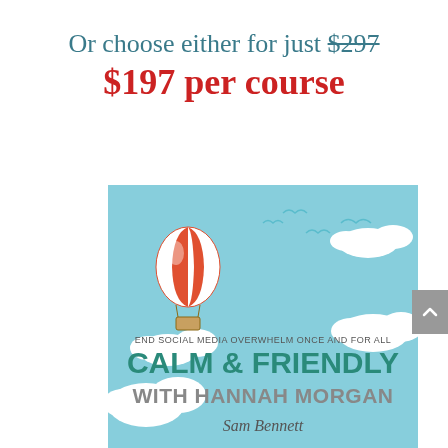Or choose either for just $297 $197 per course
[Figure (illustration): Book cover for 'Calm & Friendly with Hannah Morgan' by Sam Bennett. Light blue background with white clouds, orange and white hot air balloon, teal birds. Text reads: 'END SOCIAL MEDIA OVERWHELM ONCE AND FOR ALL', 'CALM & FRIENDLY', 'WITH HANNAH MORGAN', 'Sam Bennett']